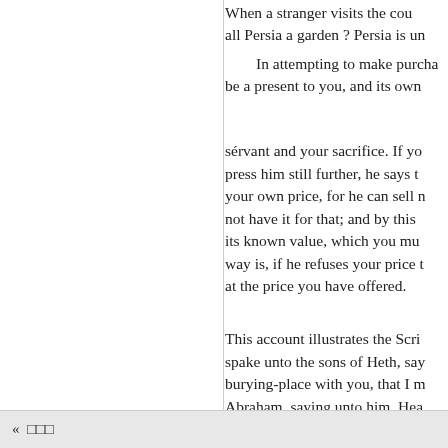When a stranger visits the cou... all Persia a garden ? Persia is u...
In attempting to make purcha... be a present to you, and its own...
sérvant and your sacrifice. If yo... press him still further, he says t... your own price, for he can sell n... not have it for that; and by this ... its known value, which you mu... way is, if he refuses your price t... at the price you have offered.
This account illustrates the Scri... spake unto the sons of Heth, say... burying-place with you, that I m... Abraham, saying unto him, Hea... sepulchres bury thy dead; none ... dead. And Ephron said, Nay, my... thee; bury thy dead. And Abrah...
, I will give thee money for th... of silver; what is that between m...
«  □□□